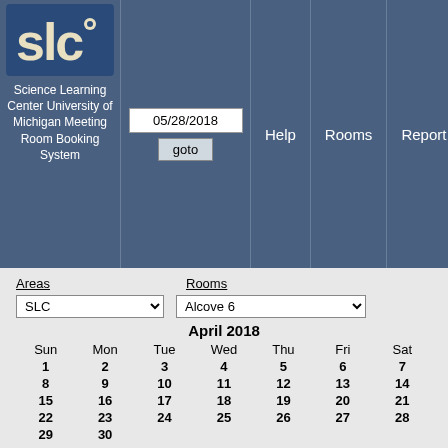[Figure (logo): SLC logo - blue square with white SLC letters and a circular design]
Science Learning Center University of Michigan Meeting Room Booking System
05/28/2018
goto
Help
Rooms
Report
Search:
Areas
Rooms
SLC
Alcove 6
April 2018
| Sun | Mon | Tue | Wed | Thu | Fri | Sat |
| --- | --- | --- | --- | --- | --- | --- |
| 1 | 2 | 3 | 4 | 5 | 6 | 7 |
| 8 | 9 | 10 | 11 | 12 | 13 | 14 |
| 15 | 16 | 17 | 18 | 19 | 20 | 21 |
| 22 | 23 | 24 | 25 | 26 | 27 | 28 |
| 29 | 30 |  |  |  |  |  |
May 2018
| Sun | Mon | Tue | Wed | Thu | Fri | Sat |
| --- | --- | --- | --- | --- | --- | --- |